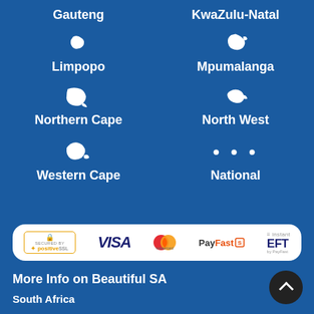[Figure (infographic): Grid of South African provinces with map icons: Gauteng, KwaZulu-Natal, Limpopo, Mpumalanga, Northern Cape, North West, Western Cape, National]
[Figure (infographic): Payment methods bar showing positiveSSL, VISA, Mastercard, PayFast, instantEFT logos on white rounded rectangle]
More Info on Beautiful SA
South Africa
Land & People
Eastern Cape